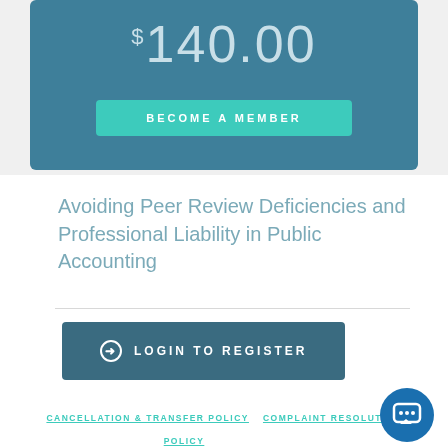$140.00
BECOME A MEMBER
Avoiding Peer Review Deficiencies and Professional Liability in Public Accounting
LOGIN TO REGISTER
CANCELLATION & TRANSFER POLICY
COMPLAINT RESOLUTION
POLICY